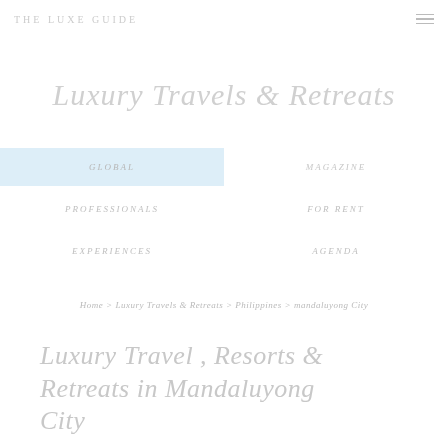THE LUXE GUIDE
Luxury Travels & Retreats
GLOBAL
MAGAZINE
PROFESSIONALS
FOR RENT
EXPERIENCES
AGENDA
Home > Luxury Travels & Retreats > Philippines > mandaluyong City
Luxury Travel , Resorts & Retreats in Mandaluyong City